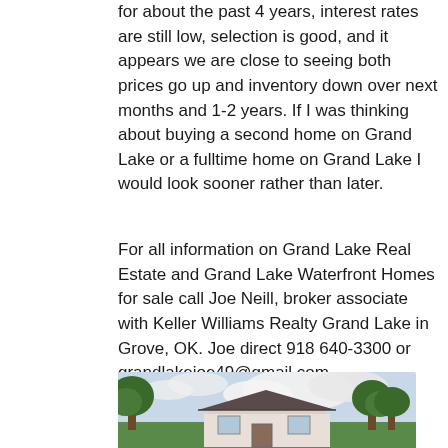for about the past 4 years, interest rates are still low, selection is good, and it appears we are close to seeing both prices go up and inventory down over next months and 1-2 years. If I was thinking about buying a second home on Grand Lake or a fulltime home on Grand Lake I would look sooner rather than later.
For all information on Grand Lake Real Estate and Grand Lake Waterfront Homes for sale call Joe Neill, broker associate with Keller Williams Realty Grand Lake in Grove, OK. Joe direct 918 640-3300 or grandlakejoe49@gmail.com
[Figure (photo): Photo of a house with red/dark roof, white siding, surrounded by green trees, with a cloudy sky in the background.]